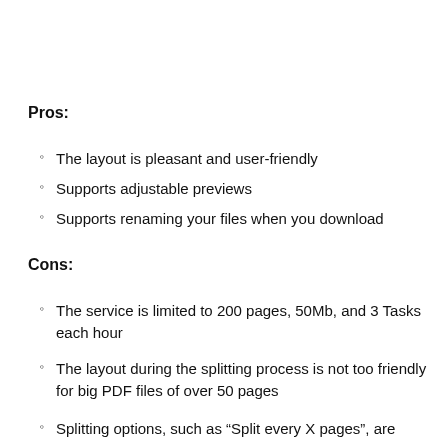Pros:
The layout is pleasant and user-friendly
Supports adjustable previews
Supports renaming your files when you download
Cons:
The service is limited to 200 pages, 50Mb, and 3 Tasks each hour
The layout during the splitting process is not too friendly for big PDF files of over 50 pages
Splitting options, such as “Split every X pages”, are confusing